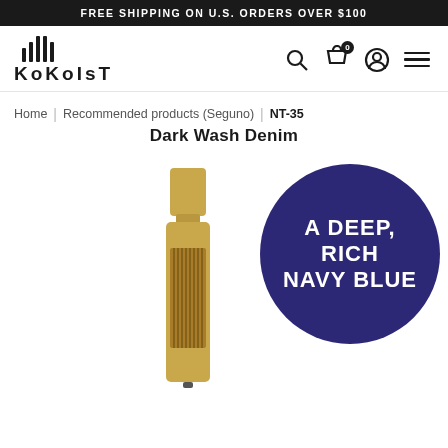FREE SHIPPING ON U.S. ORDERS OVER $100
[Figure (logo): Kokoist logo with vertical bars above the brand name text]
Home | Recommended products (Seguno) | NT-35 Dark Wash Denim
Dark Wash Denim
[Figure (photo): Kokoist nail polish bottle (gold/bronze metallic) with a dark navy blue circle badge overlay reading 'A DEEP, RICH NAVY BLUE']